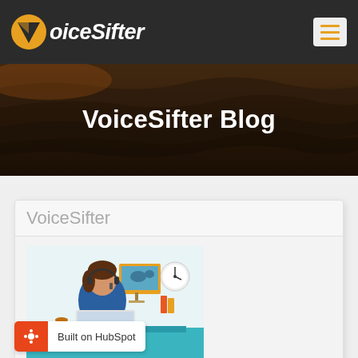VoiceSifter
VoiceSifter Blog
VoiceSifter
[Figure (illustration): Flat illustration of a female customer service agent with headset, sitting at a laptop. Background shows teal lower section and light upper section, with icons: world map presentation board, clock, and office supplies.]
Built on HubSpot